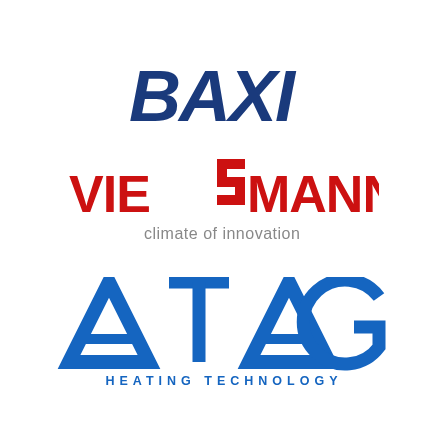[Figure (logo): BAXI logo in dark blue bold italic capital letters]
[Figure (logo): VIESSMANN logo in red bold text with stylized double-S, and tagline 'climate of innovation' in gray below]
[Figure (logo): ATAG HEATING TECHNOLOGY logo in blue with large stylized letters and 'HEATING TECHNOLOGY' subtitle in spaced capitals]